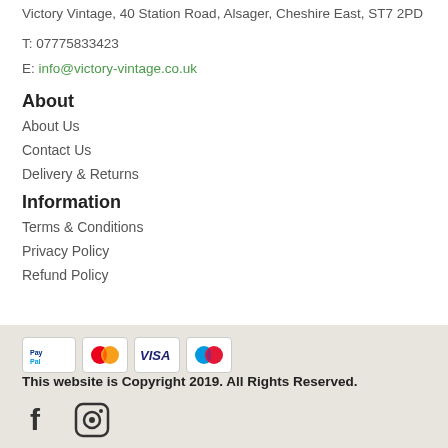Victory Vintage, 40 Station Road, Alsager, Cheshire East, ST7 2PD
T: 07775833423
E: info@victory-vintage.co.uk
About
About Us
Contact Us
Delivery & Returns
Information
Terms & Conditions
Privacy Policy
Refund Policy
This website is Copyright 2019. All Rights Reserved.